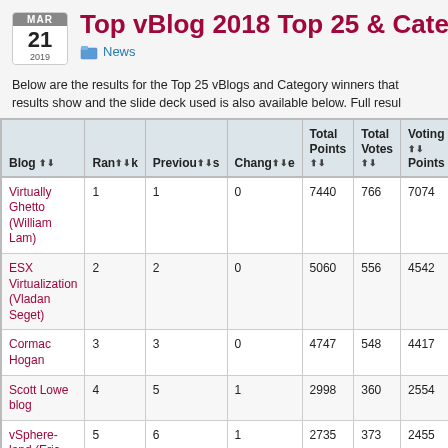Top vBlog 2018 Top 25 & Category
Below are the results for the Top 25 vBlogs and Category winners that results show and the slide deck used is also available below. Full resul
| Blog | Rank | Previous | Change | Total Points | Total Votes | Voting Points | #1 Vot |
| --- | --- | --- | --- | --- | --- | --- | --- |
| Virtually Ghetto (William Lam) | 1 | 1 | 0 | 7440 | 766 | 7074 | 235 |
| ESX Virtualization (Vladan Seget) | 2 | 2 | 0 | 5060 | 556 | 4542 | 92 |
| Cormac Hogan | 3 | 3 | 0 | 4747 | 548 | 4417 | 22 |
| Scott Lowe blog | 4 | 5 | 1 | 2998 | 360 | 2554 | 4 |
| vSphere-land (Eric Siebert) | 5 | 6 | 1 | 2735 | 373 | 2455 | 12 |
| vMiss (Melissa Palmer) | 6 | 16 | 10 | 2635 | 326 | 2363 | 11 |